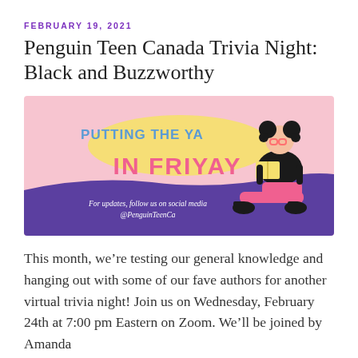FEBRUARY 19, 2021
Penguin Teen Canada Trivia Night: Black and Buzzworthy
[Figure (illustration): Promotional banner with pink background and purple wave at bottom. Text reads 'PUTTING THE YA IN FRIYAY' with a yellow speech-bubble shape behind some text. A cartoon girl with dark puffs/pigtails, glasses, black top, pink pants and black boots sits reading a book. Bottom purple section reads 'For updates, follow us on social media @PenguinTeenCa']
This month, we’re testing our general knowledge and hanging out with some of our fave authors for another virtual trivia night! Join us on Wednesday, February 24th at 7:00 pm Eastern on Zoom. We’ll be joined by Amanda